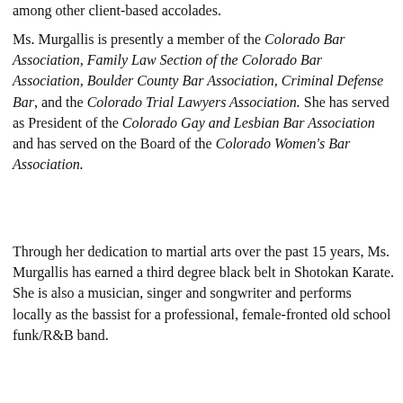among other client-based accolades.
Ms. Murgallis is presently a member of the Colorado Bar Association, Family Law Section of the Colorado Bar Association, Boulder County Bar Association, Criminal Defense Bar, and the Colorado Trial Lawyers Association. She has served as President of the Colorado Gay and Lesbian Bar Association and has served on the Board of the Colorado Women's Bar Association.
Through her dedication to martial arts over the past 15 years, Ms. Murgallis has earned a third degree black belt in Shotokan Karate. She is also a musician, singer and songwriter and performs locally as the bassist for a professional, female-fronted old school funk/R&B band.